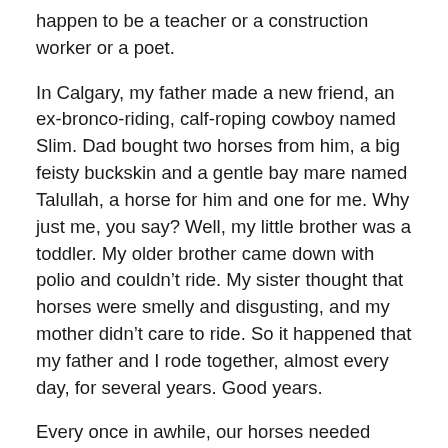happen to be a teacher or a construction worker or a poet.
In Calgary, my father made a new friend, an ex-bronco-riding, calf-roping cowboy named Slim. Dad bought two horses from him, a big feisty buckskin and a gentle bay mare named Talullah, a horse for him and one for me. Why just me, you say? Well, my little brother was a toddler. My older brother came down with polio and couldn’t ride. My sister thought that horses were smelly and disgusting, and my mother didn’t care to ride. So it happened that my father and I rode together, almost every day, for several years. Good years.
Every once in awhile, our horses needed shoes. And he and I would ride on paved streets around the edge of Calgary to the blacksmith’s shop. I loved everything about the shop. The strong warm smell of the horses mixed with